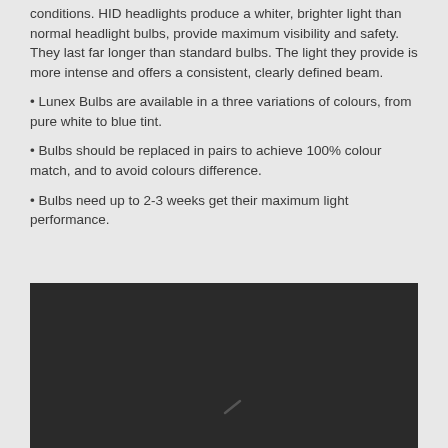conditions. HID headlights produce a whiter, brighter light than normal headlight bulbs, provide maximum visibility and safety. They last far longer than standard bulbs. The light they provide is more intense and offers a consistent, clearly defined beam.
• Lunex Bulbs are available in a three variations of colours, from pure white to blue tint.
• Bulbs should be replaced in pairs to achieve 100% colour match, and to avoid colours difference.
• Bulbs need up to 2-3 weeks get their maximum light performance.
[Figure (photo): Dark/black image area, nearly all black with a faint diagonal scratch or mark visible near the bottom center.]